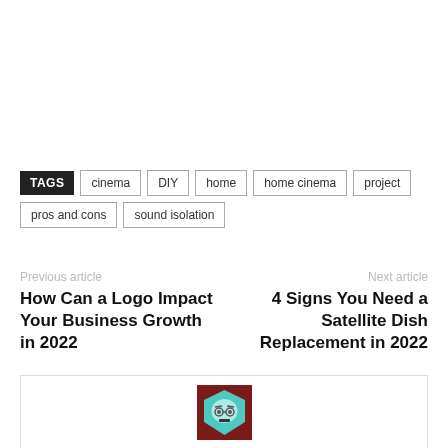TAGS  cinema  DIY  home  home cinema  project  pros and cons  sound isolation
Previous article
How Can a Logo Impact Your Business Growth in 2022
Next article
4 Signs You Need a Satellite Dish Replacement in 2022
[Figure (illustration): Author avatar: cartoon face with glasses on dark red background inside a bordered box]